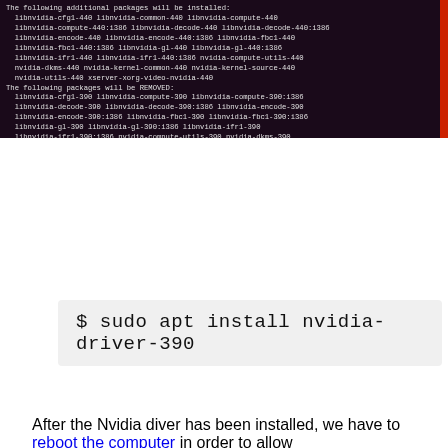[Figure (screenshot): Terminal window showing apt package installation output listing additional packages to be installed and packages to be removed including libnvidia packages]
[Figure (screenshot): Code/command box on light gray background showing: $ sudo apt install nvidia-driver-390]
[Figure (screenshot): Ubuntu terminal window titled nicole@ubuntu:~ showing sudo apt install nvidia-driver-390 command running with package dependency output]
After the Nvidia diver has been installed, we have to reboot the computer in order to allow